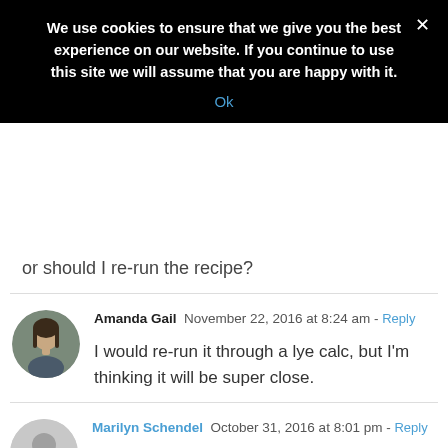We use cookies to ensure that we give you the best experience on our website. If you continue to use this site we will assume that you are happy with it.
Ok
or should I re-run the recipe?
Amanda Gail  November 22, 2016 at 8:24 am - Reply
I would re-run it through a lye calc, but I'm thinking it will be super close.
Marilyn Schendel  October 31, 2016 at 8:01 pm - Reply
Amanda since Palm Oil has also been called veggie tallow can it be substituted for the tallow soap and? I see that both the d